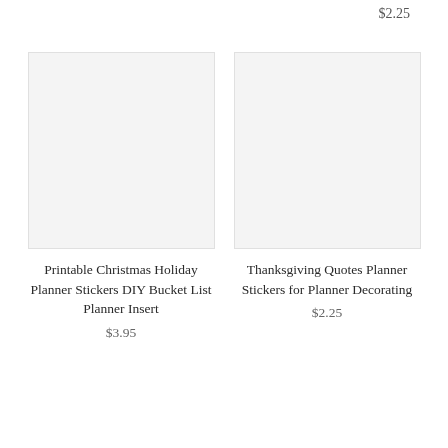$2.25
[Figure (photo): Placeholder product image for Printable Christmas Holiday Planner Stickers DIY Bucket List Planner Insert]
Printable Christmas Holiday Planner Stickers DIY Bucket List Planner Insert
$3.95
[Figure (photo): Placeholder product image for Thanksgiving Quotes Planner Stickers for Planner Decorating]
Thanksgiving Quotes Planner Stickers for Planner Decorating
$2.25